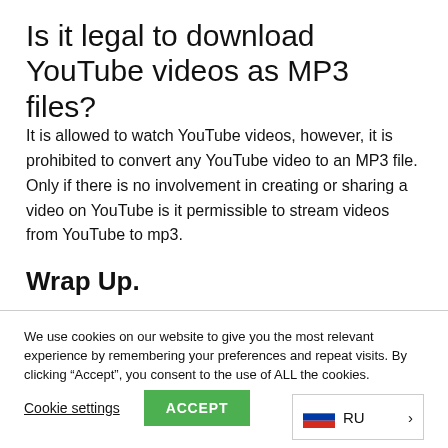Is it legal to download YouTube videos as MP3 files?
It is allowed to watch YouTube videos, however, it is prohibited to convert any YouTube video to an MP3 file. Only if there is no involvement in creating or sharing a video on YouTube is it permissible to stream videos from YouTube to mp3.
Wrap Up.
We use cookies on our website to give you the most relevant experience by remembering your preferences and repeat visits. By clicking “Accept”, you consent to the use of ALL the cookies.
Cookie settings  ACCEPT  RU >